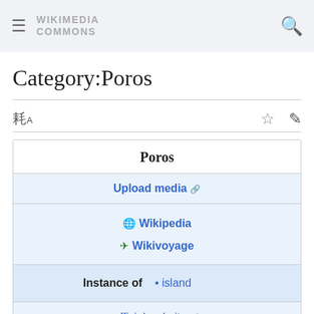WIKIMEDIA COMMONS
Category:Poros
Language / actions bar with translate icon, star icon, edit icon
| Poros |
| Upload media ↗ |
| 🌐 Wikipedia | ✈ Wikivoyage |
| Instance of | • island |
| official website ↗ |
|  |